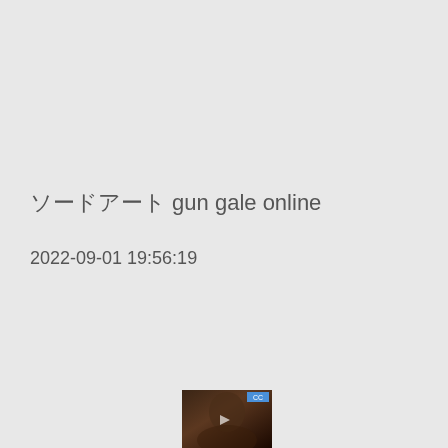ソードアート gun gale online
2022-09-01 19:56:19
[Figure (photo): Small video thumbnail showing a dark-toned image of a person's face, with a blue badge in the upper right corner and a play icon overlay]